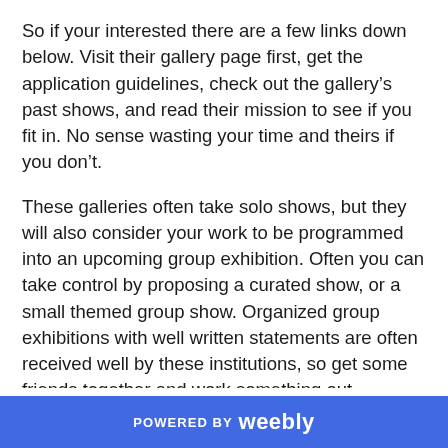So if your interested there are a few links down below.  Visit their gallery page first, get the application guidelines, check out the gallery’s past shows, and read their mission to see if you fit in.  No sense wasting your time and theirs if you don’t.
These galleries often take solo shows, but they will also consider your work to be programmed into an upcoming group exhibition.  Often you can take control by proposing a curated show, or a small themed group show.  Organized group exhibitions with well written statements are often received well by these institutions, so get some friends together and work something out.
POWERED BY weebly